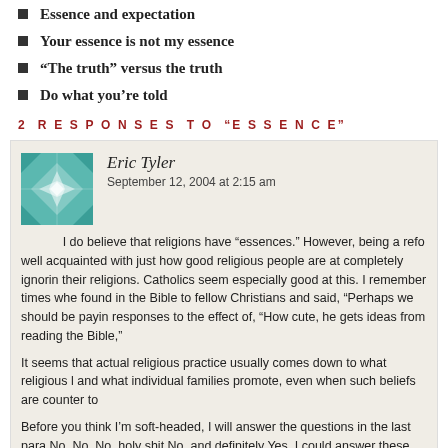Essence and expectation
Your essence is not my essence
“The truth” versus the truth
Do what you’re told
2 RESPONSES TO “ESSENCE”
Eric Tyler
September 12, 2004 at 2:15 am
I do believe that religions have “essences.” However, being a refo well acquainted with just how good religious people are at completely ignorin their religions. Catholics seem especially good at this. I remember times whe found in the Bible to fellow Christians and said, “Perhaps we should be payin responses to the effect of, “How cute, he gets ideas from reading the Bible,”
It seems that actual religious practice usually comes down to what religious l and what individual families promote, even when such beliefs are counter to
Before you think I’m soft-headed, I will answer the questions in the last para No, No, No, holy shit No, and definitely Yes. I could answer these question s religion on Earth, though.